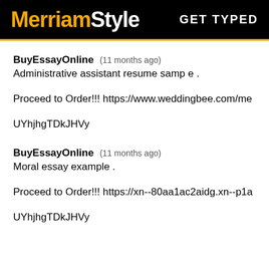MerriamStyle  GET TYPED
BuyEssayOnline   (11 months ago)
Administrative assistant resume samp e .
Proceed to Order!!! https://www.weddingbee.com/me
UYhjhgTDkJHVy
BuyEssayOnline   (11 months ago)
Moral essay example .
Proceed to Order!!! https://xn--80aa1ac2aidg.xn--p1a
UYhjhgTDkJHVy